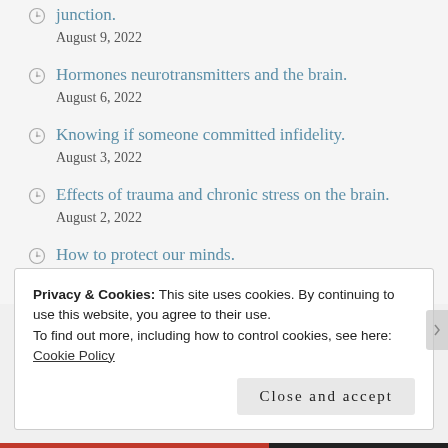junction.
August 9, 2022
Hormones neurotransmitters and the brain.
August 6, 2022
Knowing if someone committed infidelity.
August 3, 2022
Effects of trauma and chronic stress on the brain.
August 2, 2022
How to protect our minds.
July 29, 2022
Privacy & Cookies: This site uses cookies. By continuing to use this website, you agree to their use.
To find out more, including how to control cookies, see here: Cookie Policy
Close and accept